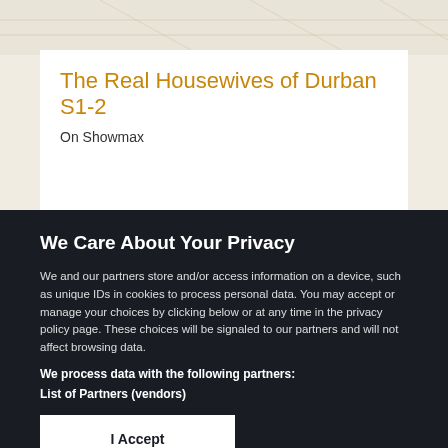[Figure (screenshot): Map background image at top of page]
The Real Housewives of Durban S1-2
On Showmax
We Care About Your Privacy
We and our partners store and/or access information on a device, such as unique IDs in cookies to process personal data. You may accept or manage your choices by clicking below or at any time in the privacy policy page. These choices will be signaled to our partners and will not affect browsing data.
We process data with the following partners:
List of Partners (vendors)
I Accept
Manage Cookies